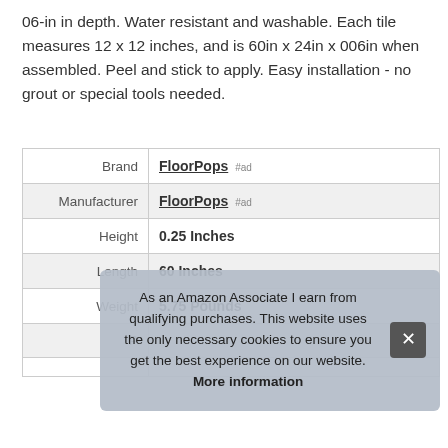06-in in depth. Water resistant and washable. Each tile measures 12 x 12 inches, and is 60in x 24in x 006in when assembled. Peel and stick to apply. Easy installation - no grout or special tools needed.
| Brand | FloorPops #ad |
| Manufacturer | FloorPops #ad |
| Height | 0.25 Inches |
| Length | 60 Inches |
| Weight | 5.75 Pounds |
| P |  |
As an Amazon Associate I earn from qualifying purchases. This website uses the only necessary cookies to ensure you get the best experience on our website. More information